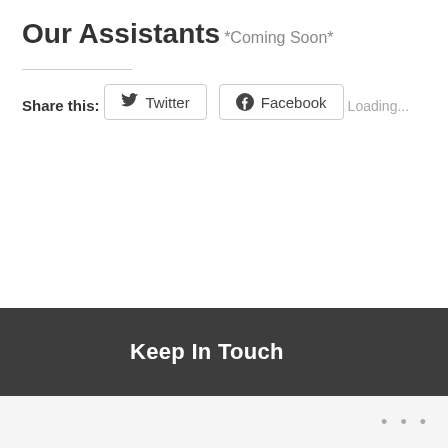Our Assistants
*Coming Soon*
Share this:
[Figure (other): Twitter and Facebook share buttons with icons]
Loading...
Keep In Touch
...